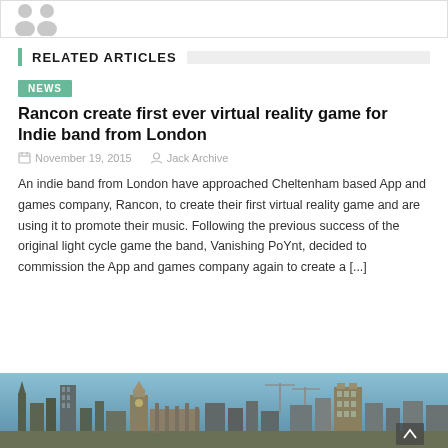[Figure (photo): Partial view of a profile/avatar image at top of page, cut off, showing gray silhouette icon]
RELATED ARTICLES
NEWS
Rancon create first ever virtual reality game for Indie band from London
November 19, 2015   Jack Archive
An indie band from London have approached Cheltenham based App and games company, Rancon, to create their first virtual reality game and are using it to promote their music. Following the previous success of the original light cycle game the band, Vanishing PoYnt, decided to commission the App and games company again to create a [...]
[Figure (photo): Aerial/skyline photograph of London showing Big Ben and cityscape]